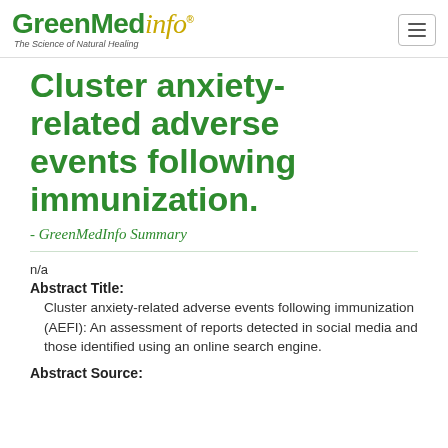GreenMedInfo - The Science of Natural Healing
Cluster anxiety-related adverse events following immunization.
- GreenMedInfo Summary
n/a
Abstract Title: Cluster anxiety-related adverse events following immunization (AEFI): An assessment of reports detected in social media and those identified using an online search engine.
Abstract Source: